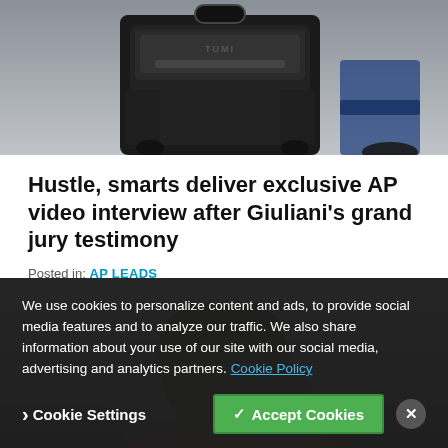[Figure (photo): Photo showing luggage/backpack with handles, black bag with TUMI branding visible, against a grey background]
Hustle, smarts deliver exclusive AP video interview after Giuliani's grand jury testimony
Posted in: AP LEADS
[Figure (photo): Close-up photo of a man with curly hair holding something to his ear, wearing a red garment, against a light background]
We use cookies to personalize content and ads, to provide social media features and to analyze our traffic. We also share information about your use of our site with our social media, advertising and analytics partners. Cookie Policy
Cookie Settings  ✓ Accept Cookies  ×